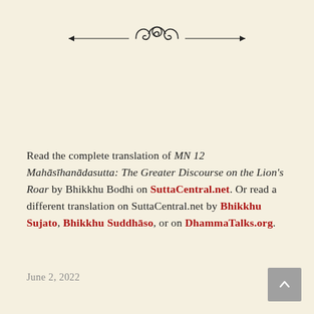[Figure (illustration): Decorative ornamental divider with swirling flourishes and horizontal lines on each side]
Read the complete translation of MN 12 Mahāsīhanādasutta: The Greater Discourse on the Lion's Roar by Bhikkhu Bodhi on SuttaCentral.net. Or read a different translation on SuttaCentral.net by Bhikkhu Sujato, Bhikkhu Suddhāso, or on DhammaTalks.org.
June 2, 2022